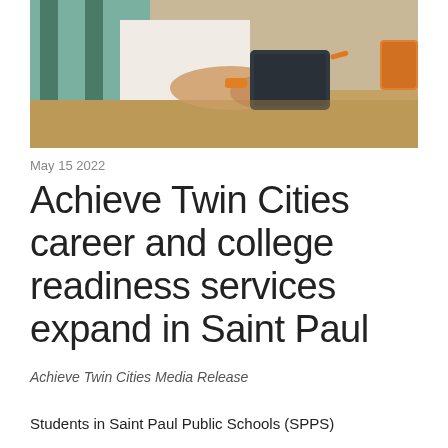[Figure (photo): Close-up photo of students at a table, one holding a tablet device, with a wooden table surface visible in the foreground.]
May 15 2022
Achieve Twin Cities career and college readiness services expand in Saint Paul
Achieve Twin Cities Media Release
Students in Saint Paul Public Schools (SPPS)